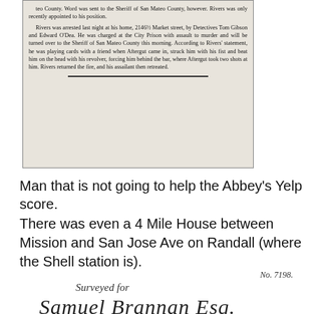[Figure (photo): Scanned newspaper clipping with text about a man named Rivers who was arrested for assault to murder. The article discusses an incident at San Mateo County involving Aftergut.]
Man that is not going to help the Abbey's Yelp score.
There was even a 4 Mile House between Mission and San Jose Ave on Randall (where the Shell station is).
No. 7198.
Surveyed for
Samuel Brannan Esq.